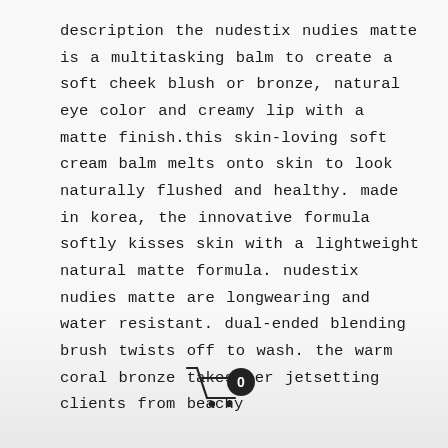description the nudestix nudies matte is a multitasking balm to create a soft cheek blush or bronze, natural eye color and creamy lip with a matte finish.this skin-loving soft cream balm melts onto skin to look naturally flushed and healthy. made in korea, the innovative formula softly kisses skin with a lightweight natural matte formula. nudestix nudies matte are longwearing and water resistant. dual-ended blending brush twists off to wash. the warm coral bronze takes her jetsetting clients from beachy
[Figure (illustration): Shopping cart icon with a circular badge showing the number 0]